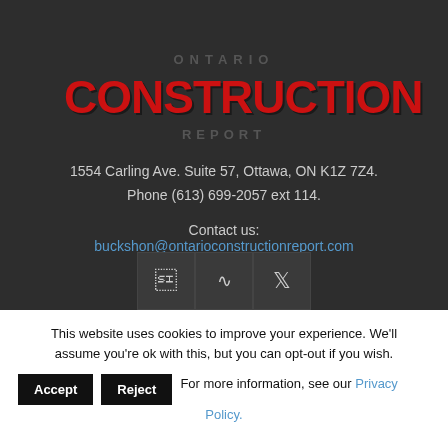[Figure (logo): Ontario Construction Report logo with red bold CONSTRUCTION text and grey ONTARIO and REPORT text]
1554 Carling Ave. Suite 57, Ottawa, ON K1Z 7Z4.
Phone (613) 699-2057 ext 114.
Contact us:
buckshon@ontarioconstructionreport.com
[Figure (infographic): Social media icons: Facebook, RSS feed, Twitter]
This website uses cookies to improve your experience. We'll assume you're ok with this, but you can opt-out if you wish.
Accept   Reject   For more information, see our Privacy Policy.